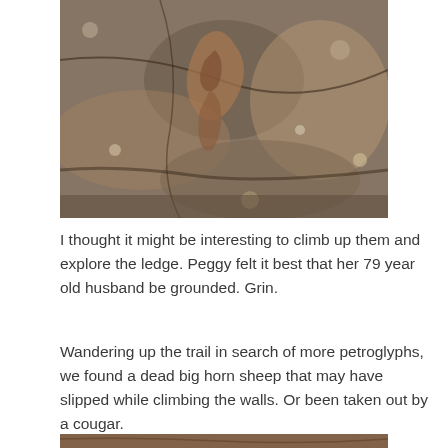[Figure (photo): Close-up photograph of weathered rock surface showing textured patterns, cracks, and formations in brown, gray, and tan tones — likely showing petroglyphs or natural rock formations.]
I thought it might be interesting to climb up them and explore the ledge. Peggy felt it best that her 79 year old husband be grounded. Grin.
Wandering up the trail in search of more petroglyphs, we found a dead big horn sheep that may have slipped while climbing the walls. Or been taken out by a cougar.
[Figure (photo): Partial view of another rock surface photograph visible at the bottom of the page.]